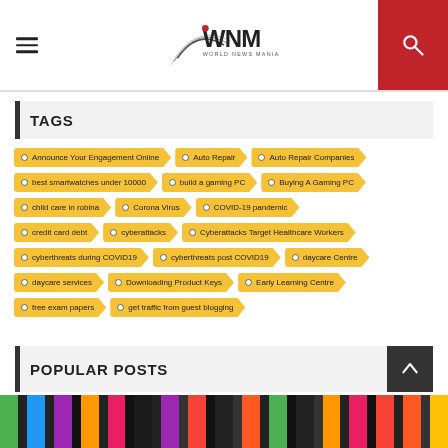World News Mania
TAGS
Announce Your Engagement Online
Auto Repair
Auto Repair Companies
best smartwatches under 10000
build a gaming PC
Buying A Gaming PC
child care in robina
Corona Virus
COVID-19 pandemic
credit card debt
cyberattacks
Cyberattacks Target Healthcare Workers
cyberthreats during COVID19
cyberthreats post COVID19
daycare Centre
daycare services
Downloading Product Keys
Early Learning Centre
free exam papers
get traffic from guest blogging
POPULAR POSTS
[Figure (photo): Colorful strips image at the bottom of the page]